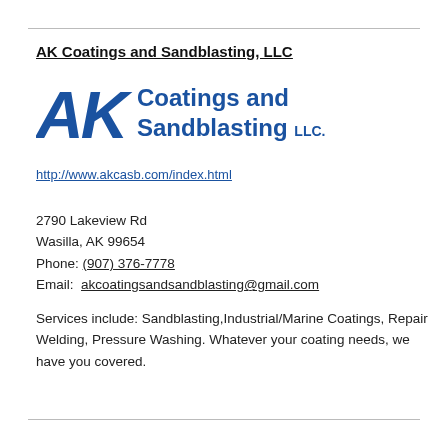AK Coatings and Sandblasting, LLC
[Figure (logo): AK Coatings and Sandblasting LLC logo in blue with stylized AK letters and company name]
http://www.akcasb.com/index.html
2790 Lakeview Rd
Wasilla, AK 99654
Phone: (907) 376-7778
Email: akcoatingsandsandblasting@gmail.com
Services include: Sandblasting,Industrial/Marine Coatings, Repair Welding, Pressure Washing. Whatever your coating needs, we have you covered.